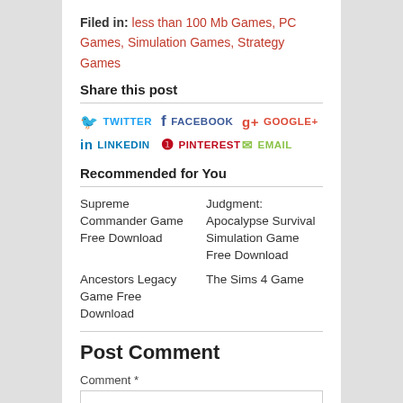Filed in: less than 100 Mb Games, PC Games, Simulation Games, Strategy Games
Share this post
TWITTER | FACEBOOK | GOOGLE+ | LINKEDIN | PINTEREST | EMAIL
Recommended for You
Supreme Commander Game Free Download
Judgment: Apocalypse Survival Simulation Game Free Download
Ancestors Legacy Game Free Download
The Sims 4 Game
Post Comment
Comment *